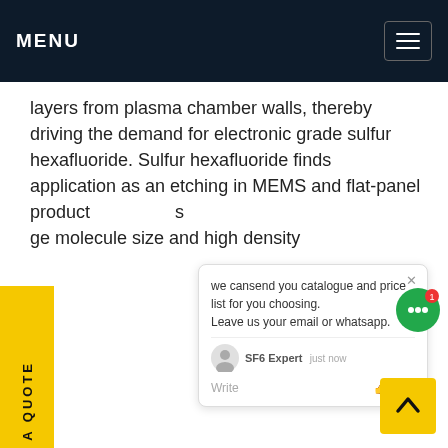MENU
layers from plasma chamber walls, thereby driving the demand for electronic grade sulfur hexafluoride. Sulfur hexafluoride finds application as an etching in MEMS and flat-panel product  s ge molecule size and high density
[Figure (screenshot): Chat widget popup showing message: 'we can send you catalogue and price list for you choosing. Leave us your email or whatsapp.' with SF6 Expert avatar and timestamp 'just now', write input field with thumbs up and paperclip icons]
[Figure (infographic): Vertical yellow sidebar tab with rotated text 'REQUEST A QUOTE']
[Figure (infographic): Yellow scroll-to-top button with upward chevron arrow in bottom right corner]